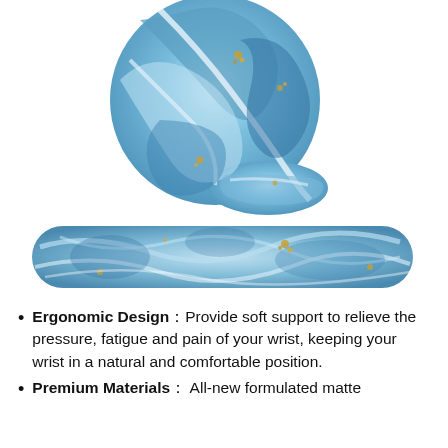[Figure (photo): Blue marble-patterned mouse pad with wrist rest. Top: circular mouse pad with teardrop wrist rest cutout showing blue and gold marble swirl pattern. Bottom: rectangular wrist rest bar with same blue and gold marble pattern.]
Ergonomic Design：Provide soft support to relieve the pressure, fatigue and pain of your wrist, keeping your wrist in a natural and comfortable position.
Premium Materials： All-new formulated matte base of better surface high density and it...